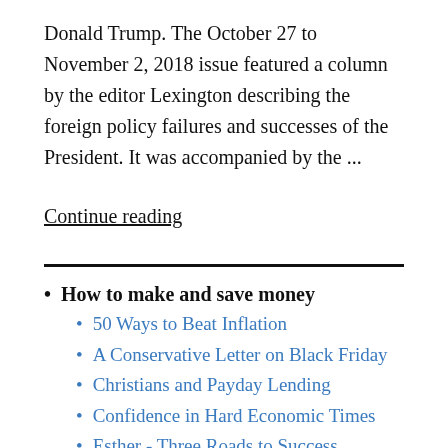Donald Trump. The October 27 to November 2, 2018 issue featured a column by the editor Lexington describing the foreign policy failures and successes of the President. It was accompanied by the ...
Continue reading
How to make and save money
50 Ways to Beat Inflation
A Conservative Letter on Black Friday
Christians and Payday Lending
Confidence in Hard Economic Times
Esther - Three Roads to Success